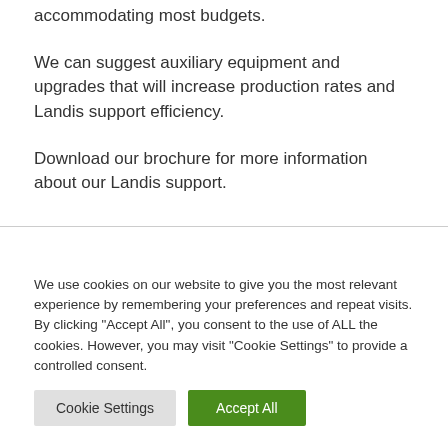accommodating most budgets.
We can suggest auxiliary equipment and upgrades that will increase production rates and Landis support efficiency.
Download our brochure for more information about our Landis support.
We use cookies on our website to give you the most relevant experience by remembering your preferences and repeat visits. By clicking "Accept All", you consent to the use of ALL the cookies. However, you may visit "Cookie Settings" to provide a controlled consent.